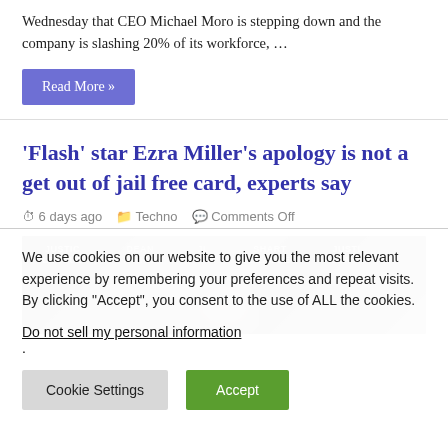Wednesday that CEO Michael Moro is stepping down and the company is slashing 20% of its workforce, ...
Read More »
'Flash' star Ezra Miller's apology is not a get out of jail free card, experts say
6 days ago   Techno   Comments Off
[Figure (photo): Ezra Miller at a Justice League event with JL logos on a step-and-repeat banner, person's head visible at bottom center]
We use cookies on our website to give you the most relevant experience by remembering your preferences and repeat visits. By clicking "Accept", you consent to the use of ALL the cookies.
Do not sell my personal information.
Cookie Settings   Accept